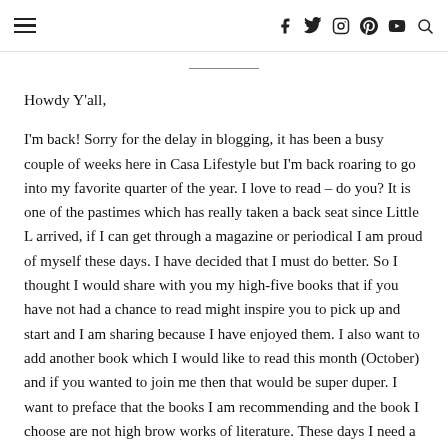≡   f  y  instagram  pinterest  youtube  search
Howdy Y'all,
I'm back! Sorry for the delay in blogging, it has been a busy couple of weeks here in Casa Lifestyle but I'm back roaring to go into my favorite quarter of the year. I love to read – do you? It is one of the pastimes which has really taken a back seat since Little L arrived, if I can get through a magazine or periodical I am proud of myself these days. I have decided that I must do better. So I thought I would share with you my high-five books that if you have not had a chance to read might inspire you to pick up and start and I am sharing because I have enjoyed them. I also want to add another book which I would like to read this month (October) and if you wanted to join me then that would be super duper. I want to preface that the books I am recommending and the book I choose are not high brow works of literature. These days I need a book to entertain and engage me from the get go otherwise it joins the